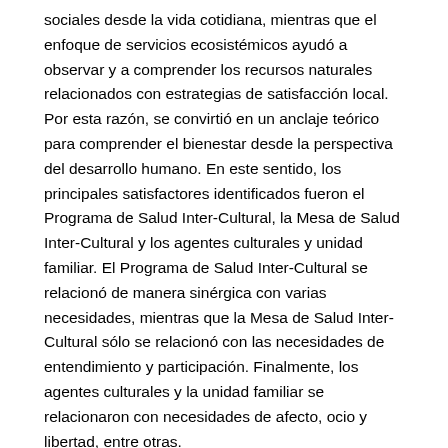sociales desde la vida cotidiana, mientras que el enfoque de servicios ecosistémicos ayudó a observar y a comprender los recursos naturales relacionados con estrategias de satisfacción local. Por esta razón, se convirtió en un anclaje teórico para comprender el bienestar desde la perspectiva del desarrollo humano. En este sentido, los principales satisfactores identificados fueron el Programa de Salud Inter-Cultural, la Mesa de Salud Inter-Cultural y los agentes culturales y unidad familiar. El Programa de Salud Inter-Cultural se relacionó de manera sinérgica con varias necesidades, mientras que la Mesa de Salud Inter-Cultural sólo se relacionó con las necesidades de entendimiento y participación. Finalmente, los agentes culturales y la unidad familiar se relacionaron con necesidades de afecto, ocio y libertad, entre otras.
https://doi.org/10.25260/EA.17.27.1.1.269